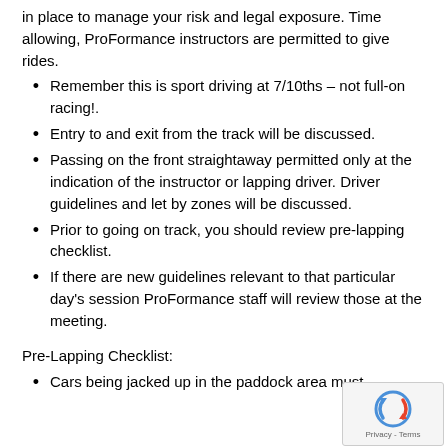in place to manage your risk and legal exposure. Time allowing, ProFormance instructors are permitted to give rides.
Remember this is sport driving at 7/10ths – not full-on racing!.
Entry to and exit from the track will be discussed.
Passing on the front straightaway permitted only at the indication of the instructor or lapping driver. Driver guidelines and let by zones will be discussed.
Prior to going on track, you should review pre-lapping checklist.
If there are new guidelines relevant to that particular day's session ProFormance staff will review those at the meeting.
Pre-Lapping Checklist:
Cars being jacked up in the paddock area must